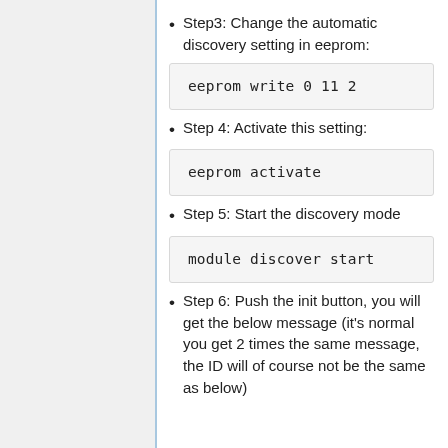Step3: Change the automatic discovery setting in eeprom:
eeprom write 0 11 2
Step 4: Activate this setting:
eeprom activate
Step 5: Start the discovery mode
module discover start
Step 6: Push the init button, you will get the below message (it's normal you get 2 times the same message, the ID will of course not be the same as below)